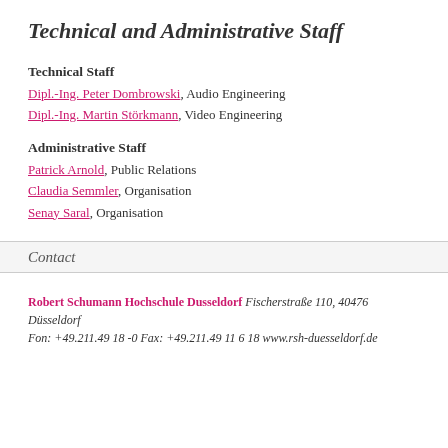Technical and Administrative Staff
Technical Staff
Dipl.-Ing. Peter Dombrowski, Audio Engineering
Dipl.-Ing. Martin Störkmann, Video Engineering
Administrative Staff
Patrick Arnold, Public Relations
Claudia Semmler, Organisation
Senay Saral, Organisation
Contact
Robert Schumann Hochschule Dusseldorf Fischerstraße 110, 40476 Düsseldorf Fon: +49.211.49 18 -0 Fax: +49.211.49 11 6 18 www.rsh-duesseldorf.de